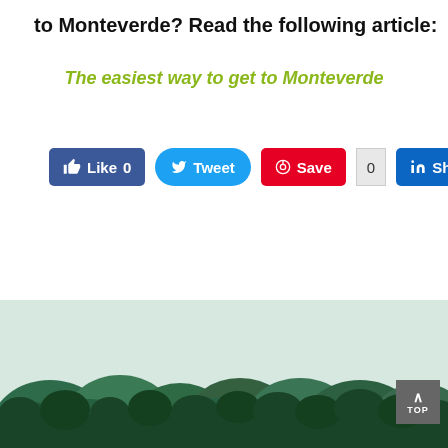to Monteverde? Read the following article:
The easiest way to get to Monteverde
[Figure (screenshot): Social media sharing buttons: Like 0 (Facebook), Tweet (Twitter), Save (Pinterest), 0 Share (LinkedIn)]
[Figure (photo): Forest treeline photo at the bottom of the page showing dense tropical trees]